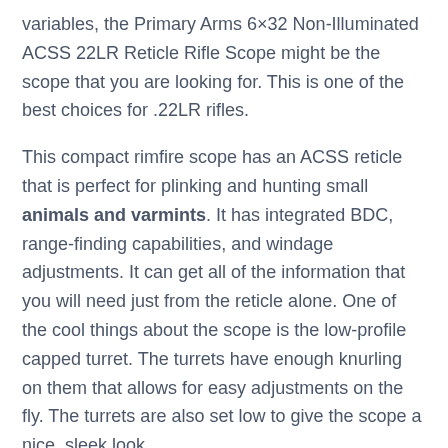variables, the Primary Arms 6×32 Non-Illuminated ACSS 22LR Reticle Rifle Scope might be the scope that you are looking for. This is one of the best choices for .22LR rifles.
This compact rimfire scope has an ACSS reticle that is perfect for plinking and hunting small animals and varmints. It has integrated BDC, range-finding capabilities, and windage adjustments. It can get all of the information that you will need just from the reticle alone. One of the cool things about the scope is the low-profile capped turret. The turrets have enough knurling on them that allows for easy adjustments on the fly. The turrets are also set low to give the scope a nice, sleek look.
I dislike the fact that the scope cannot seem to hold its zero very well. If you will be using low-recoil rounds (vs. high velocity), it can hold zero just fine. However, when subjected to slight recoil, the scope loses its zero.